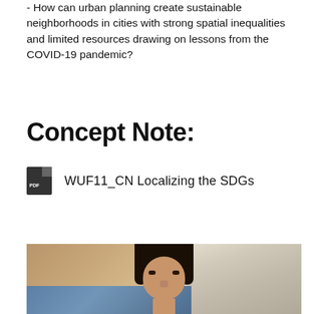- How can urban planning create sustainable neighborhoods in cities with strong spatial inequalities and limited resources drawing on lessons from the COVID-19 pandemic?
Concept Note:
WUF11_CN Localizing the SDGs
[Figure (photo): Photograph of a woman with dark hair, partially cropped, with a blurred colorful background including blue and brown tones.]